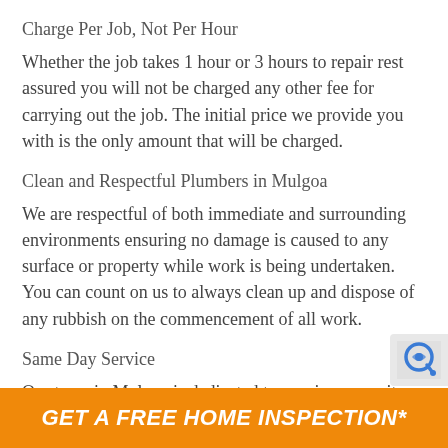Charge Per Job, Not Per Hour
Whether the job takes 1 hour or 3 hours to repair rest assured you will not be charged any other fee for carrying out the job. The initial price we provide you with is the only amount that will be charged.
Clean and Respectful Plumbers in Mulgoa
We are respectful of both immediate and surrounding environments ensuring no damage is caused to any surface or property while work is being undertaken. You can count on us to always clean up and dispose of any rubbish on the commencement of all work.
Same Day Service
Our team in Mulgoa is dedicated to proving you wit
GET A FREE HOME INSPECTION*